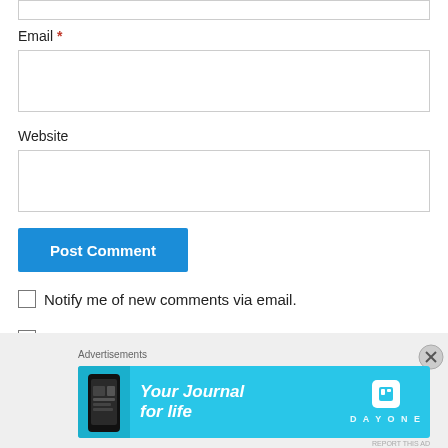Email *
Website
Post Comment
Notify me of new comments via email.
Notify me of new posts via email.
Advertisements
[Figure (other): Day One app advertisement banner with text 'Your Journal for life' on a cyan/turquoise background with a phone mockup on the left and Day One logo/icon on the right]